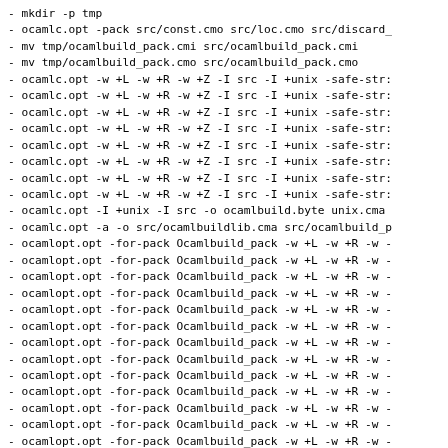- mkdir -p tmp
- ocamlc.opt -pack src/const.cmo src/loc.cmo src/discard_
- mv tmp/ocamlbuild_pack.cmi src/ocamlbuild_pack.cmi
- mv tmp/ocamlbuild_pack.cmo src/ocamlbuild_pack.cmo
- ocamlc.opt -w +L -w +R -w +Z -I src -I +unix -safe-str:
- ocamlc.opt -w +L -w +R -w +Z -I src -I +unix -safe-str:
- ocamlc.opt -w +L -w +R -w +Z -I src -I +unix -safe-str:
- ocamlc.opt -w +L -w +R -w +Z -I src -I +unix -safe-str:
- ocamlc.opt -w +L -w +R -w +Z -I src -I +unix -safe-str:
- ocamlc.opt -w +L -w +R -w +Z -I src -I +unix -safe-str:
- ocamlc.opt -w +L -w +R -w +Z -I src -I +unix -safe-str:
- ocamlc.opt -w +L -w +R -w +Z -I src -I +unix -safe-str:
- ocamlc.opt -I +unix -I src -o ocamlbuild.byte unix.cma
- ocamlc.opt -a -o src/ocamlbuildlib.cma src/ocamlbuild_p
- ocamlopt.opt -for-pack Ocamlbuild_pack -w +L -w +R -w -
- ocamlopt.opt -for-pack Ocamlbuild_pack -w +L -w +R -w -
- ocamlopt.opt -for-pack Ocamlbuild_pack -w +L -w +R -w -
- ocamlopt.opt -for-pack Ocamlbuild_pack -w +L -w +R -w -
- ocamlopt.opt -for-pack Ocamlbuild_pack -w +L -w +R -w -
- ocamlopt.opt -for-pack Ocamlbuild_pack -w +L -w +R -w -
- ocamlopt.opt -for-pack Ocamlbuild_pack -w +L -w +R -w -
- ocamlopt.opt -for-pack Ocamlbuild_pack -w +L -w +R -w -
- ocamlopt.opt -for-pack Ocamlbuild_pack -w +L -w +R -w -
- ocamlopt.opt -for-pack Ocamlbuild_pack -w +L -w +R -w -
- ocamlopt.opt -for-pack Ocamlbuild_pack -w +L -w +R -w -
- ocamlopt.opt -for-pack Ocamlbuild_pack -w +L -w +R -w -
- ocamlopt.opt -for-pack Ocamlbuild_pack -w +L -w +R -w -
- ocamlopt.opt -for-pack Ocamlbuild_pack -w +L -w +R -w -
- ocamlopt.opt -for-pack Ocamlbuild_pack -w +L -w +R -w -
- ocamlopt.opt -for-pack Ocamlbuild pack -w +L -w +R -w